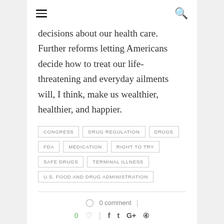≡  🔍
decisions about our health care.  Further reforms letting Americans decide how to treat our life-threatening and everyday ailments will, I think, make us wealthier, healthier, and happier.
CONGRESS
DRUG REGULATION
DRUGS
FDA
MEDICATION
RIGHT TO TRY
SAFE DRUGS
TERMINAL ILLNESS
U.S. FOOD AND DRUG ADMINISTRATION
0 comment | 0 ♡ | f t G+ ⊕